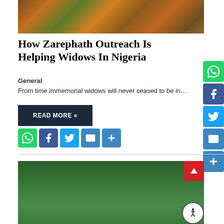[Figure (photo): Top portion of a photo showing a person wearing colorful Nigerian traditional attire (orange and green pattern fabric) with gold bangles, with a stone/brick ground visible in the background.]
How Zarephath Outreach Is Helping Widows In Nigeria
General
From time immemorial widows will never ceased to be in…
READ MORE »
[Figure (infographic): Row of social sharing icons: WhatsApp (green), Facebook (blue), Twitter (blue), Email (blue), Share/Plus (blue)]
[Figure (infographic): Vertical sidebar of social sharing icons on the right: WhatsApp (green), Facebook (blue), Twitter (blue), Email (blue), Share/Plus (blue)]
[Figure (photo): Bottom photo showing people on a green field/sports ground, one person wearing a green patterned cap, another with brown hair visible.]